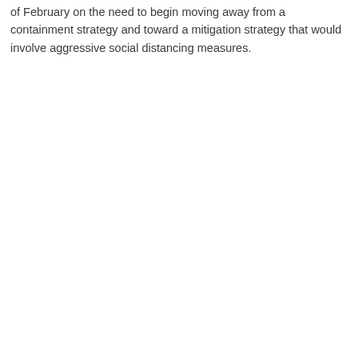of February on the need to begin moving away from a containment strategy and toward a mitigation strategy that would involve aggressive social distancing measures.